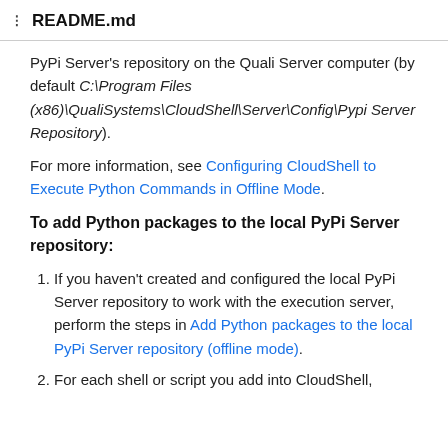README.md
PyPi Server's repository on the Quali Server computer (by default C:\Program Files (x86)\QualiSystems\CloudShell\Server\Config\Pypi Server Repository).
For more information, see Configuring CloudShell to Execute Python Commands in Offline Mode.
To add Python packages to the local PyPi Server repository:
If you haven't created and configured the local PyPi Server repository to work with the execution server, perform the steps in Add Python packages to the local PyPi Server repository (offline mode).
For each shell or script you add into CloudShell,